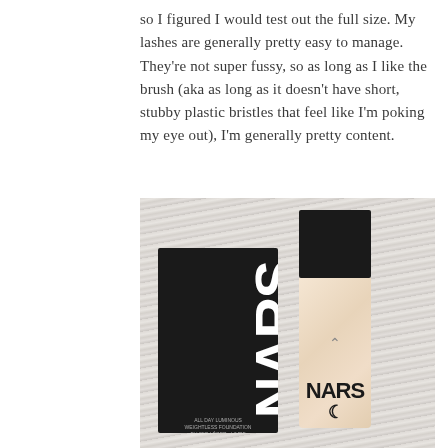so I figured I would test out the full size. My lashes are generally pretty easy to manage. They're not super fussy, so as long as I like the brush (aka as long as it doesn't have short, stubby plastic bristles that feel like I'm poking my eye out), I'm generally pretty content.
[Figure (photo): Photo of a NARS All Day Luminous Weightless Foundation bottle (peach/nude color with black cap) next to its black NARS branded box, both placed on a white fluffy fur or fabric background.]